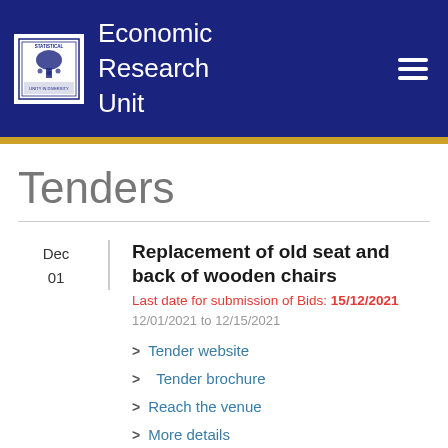[Figure (logo): Statistical logo with tree emblem and text 'Unity in Diversity']
Economic Research Unit
Tenders
Dec 01
Replacement of old seat and back of wooden chairs
Last date for submission of Bids: 15/12/2021
12/01/2021 to 12/15/2021
> Tender website
> Tender brochure
> Reach the venue
> More details